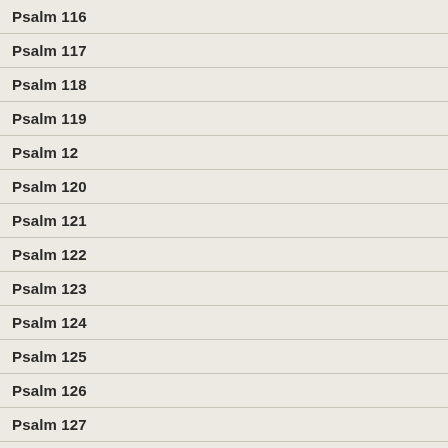Psalm 116
Psalm 117
Psalm 118
Psalm 119
Psalm 12
Psalm 120
Psalm 121
Psalm 122
Psalm 123
Psalm 124
Psalm 125
Psalm 126
Psalm 127